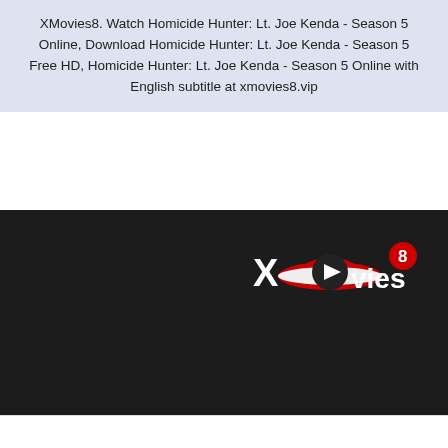XMovies8. Watch Homicide Hunter: Lt. Joe Kenda - Season 5 Online, Download Homicide Hunter: Lt. Joe Kenda - Season 5 Free HD, Homicide Hunter: Lt. Joe Kenda - Season 5 Online with English subtitle at xmovies8.vip
[Figure (logo): XMovies8 logo with red hat and play button, with red badge showing number 8]
LINE
Reserved
All contents are provided by
LetMeWatchThis
s
Vmovee
ify TV